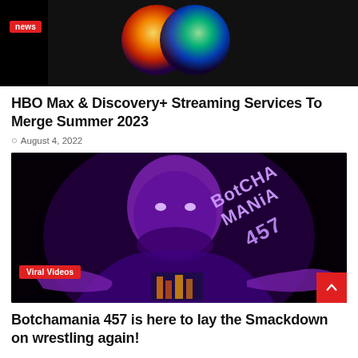[Figure (screenshot): HBO Max and Discovery+ logos on black background with 'news' badge in red]
HBO Max & Discovery+ Streaming Services To Merge Summer 2023
August 4, 2022
[Figure (photo): Purple-tinted photo of a wrestler/person with 'Botchamania 457' text overlay and 'Viral Videos' badge]
Botchamania 457 is here to lay the Smackdown on wrestling again!